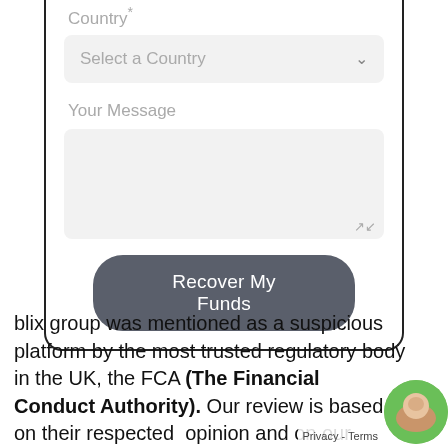Country*
Select a Country
Your Message
Recover My Funds
blix group was mentioned as a suspicious platform by the most trusted regulatory body in the UK, the FCA (The Financial Conduct Authority). Our review is based on their respected opinion and on our personal research. ReportScamOnline suggests th the company operates illegally and with proper financial regulatory license.